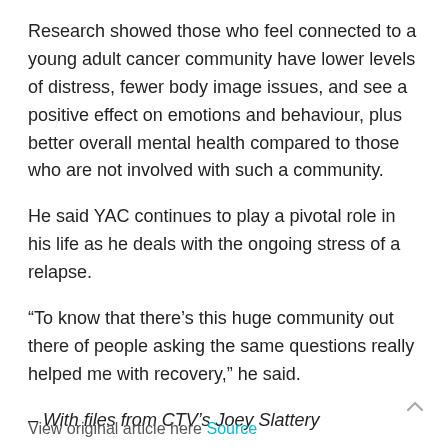Research showed those who feel connected to a young adult cancer community have lower levels of distress, fewer body image issues, and see a positive effect on emotions and behaviour, plus better overall mental health compared to those who are not involved with such a community.
He said YAC continues to play a pivotal role in his life as he deals with the ongoing stress of a relapse.
“To know that there’s this huge community out there of people asking the same questions really helped me with recovery,” he said.
– With files from CTV’s Joey Slattery
View original article here Source